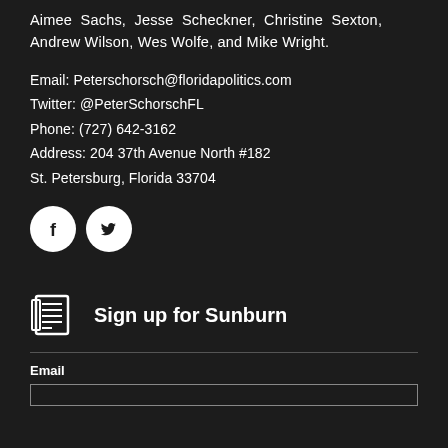Aimee Sachs, Jesse Scheckner, Christine Sexton, Andrew Wilson, Wes Wolfe, and Mike Wright.
Email: Peterschorsch@floridapolitics.com
Twitter: @PeterSchorschFL
Phone: (727) 642-3162
Address: 204 37th Avenue North #182
St. Petersburg, Florida 33704
[Figure (illustration): Two circular social media icons: Facebook (f logo) and Twitter (bird logo), white icons on white circles against dark background]
[Figure (illustration): Newspaper icon next to Sign up for Sunburn heading]
Sign up for Sunburn
Email